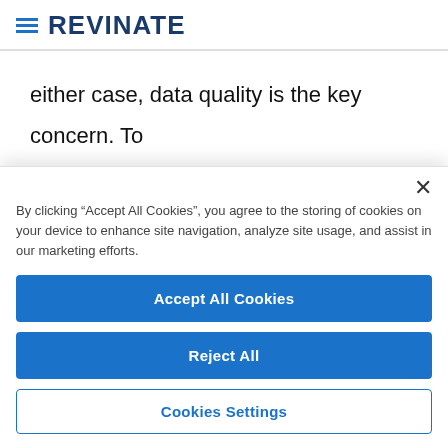[Figure (logo): Revinate logo with hamburger menu icon (three blue horizontal lines) and bold dark blue REVINATE wordmark]
either case, data quality is the key concern. To successfully navigate through the data, a hotelier needs to understand the degrees of reliability the
By clicking “Accept All Cookies”, you agree to the storing of cookies on your device to enhance site navigation, analyze site usage, and assist in our marketing efforts.
Accept All Cookies
Reject All
Cookies Settings